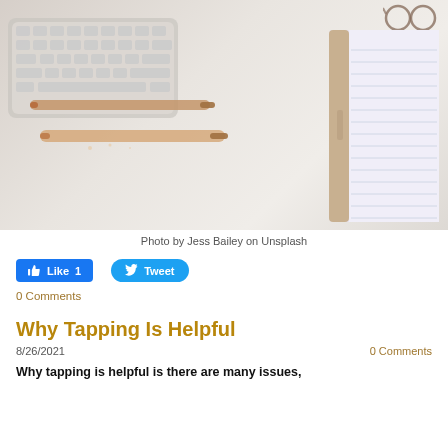[Figure (photo): Overhead desk flat-lay showing a white wireless keyboard, two rose-gold pens, a lined notepad with rose-gold binding, and sunglasses on a light beige surface.]
Photo by Jess Bailey on Unsplash
Like 1   Tweet
0 Comments
Why Tapping Is Helpful
8/26/2021   0 Comments
Why tapping is helpful is there are many issues,